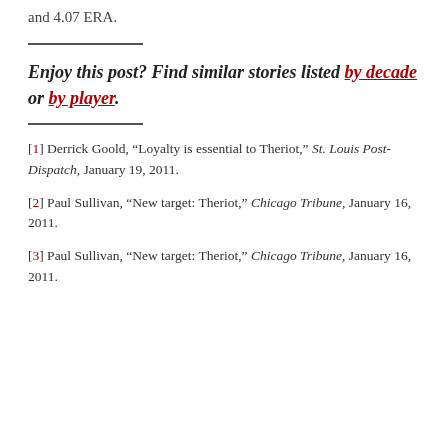and 4.07 ERA.
Enjoy this post? Find similar stories listed by decade or by player.
[1] Derrick Goold, “Loyalty is essential to Theriot,” St. Louis Post-Dispatch, January 19, 2011.
[2] Paul Sullivan, “New target: Theriot,” Chicago Tribune, January 16, 2011.
[3] Paul Sullivan, “New target: Theriot,” Chicago Tribune, January 16, 2011.